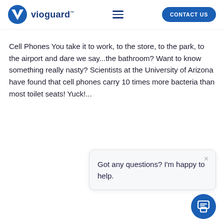vioguard
Cell Phones You take it to work, to the store, to the park, to the airport and dare we say...the bathroom? Want to know something really nasty? Scientists at the University of Arizona have found that cell phones carry 10 times more bacteria than most toilet seats! Yuck!...
Got any questions? I'm happy to help.